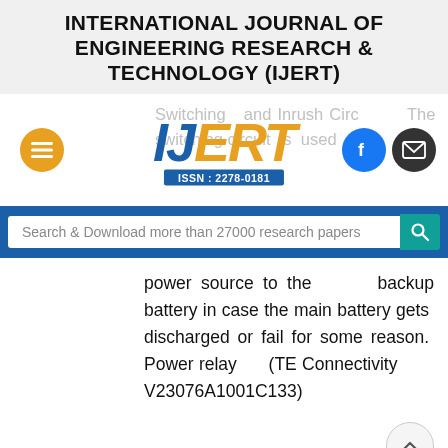INTERNATIONAL JOURNAL OF ENGINEERING RESEARCH & TECHNOLOGY (IJERT)
[Figure (logo): IJERT logo with ISSN: 2278-0181, orange menu icon, Facebook icon, email icon, and navigation/social buttons]
Search & Download more than 27000 research papers
power source to the backup battery in case the main battery gets discharged or fail for some reason. Power relay (TE Connectivity V23076A1001C133)